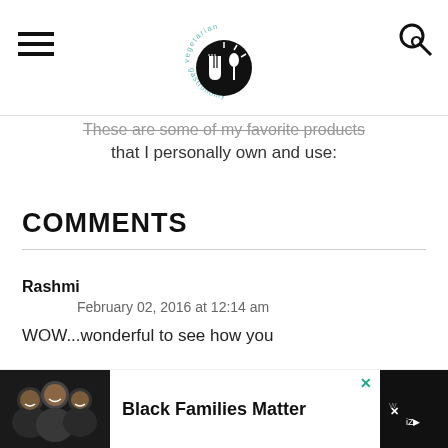vegetarian gastronomy (logo)
These are some of my favorite products that I personally own and use:
COMMENTS
Rashmi
February 02, 2016 at 12:14 am
WOW...wonderful to see how you
[Figure (other): Black Families Matter advertisement banner with photo of smiling family]